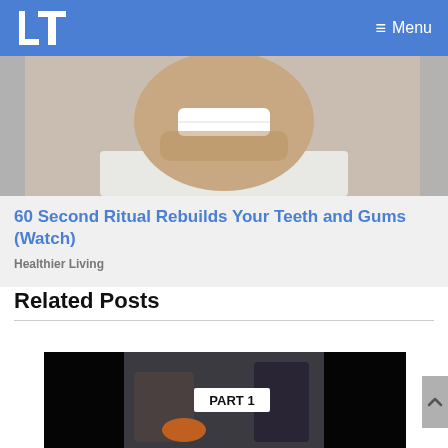LT Menu
[Figure (photo): Close-up photo of a man smiling, showing teeth, wearing a white shirt]
60 Second Ritual Rebuilds Your Teeth and Gums (Watch)
Healthier Living
Related Posts
[Figure (photo): Video thumbnail showing PART 1 text overlay, dark scene with people visible]